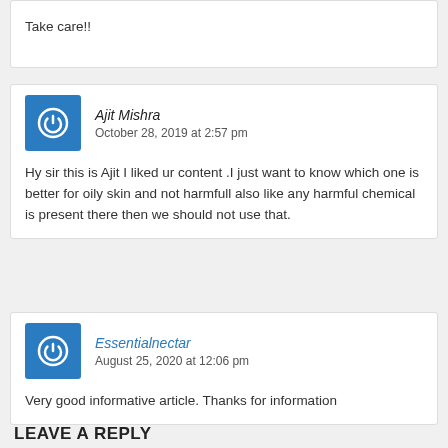Take care!!
Ajit Mishra
October 28, 2019 at 2:57 pm
Hy sir this is Ajit I liked ur content .I just want to know which one is better for oily skin and not harmfull also like any harmful chemical is present there then we should not use that.
Essentialnectar
August 25, 2020 at 12:06 pm
Very good informative article. Thanks for information
LEAVE A REPLY